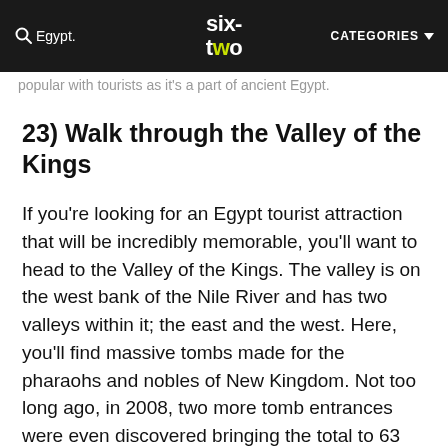six-two | CATEGORIES
popular with tourists as it's a part of ancient Egypt.
23) Walk through the Valley of the Kings
If you're looking for an Egypt tourist attraction that will be incredibly memorable, you'll want to head to the Valley of the Kings. The valley is on the west bank of the Nile River and has two valleys within it; the east and the west. Here, you'll find massive tombs made for the pharaohs and nobles of New Kingdom. Not too long ago, in 2008, two more tomb entrances were even discovered bringing the total to 63 tombs and chambers found within